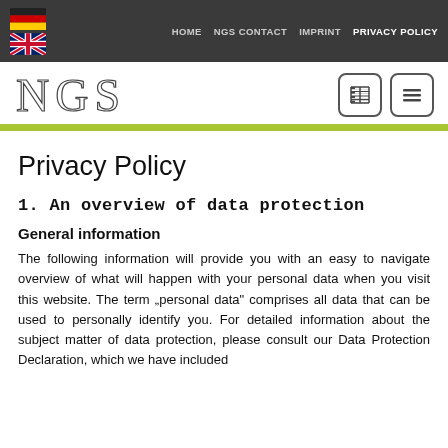HOME   NGS CONTACT   IMPRINT   PRIVACY POLICY
[Figure (logo): NGS logo in serif outline font]
Privacy Policy
1. An overview of data protection
General information
The following information will provide you with an easy to navigate overview of what will happen with your personal data when you visit this website. The term „personal data“ comprises all data that can be used to personally identify you. For detailed information about the subject matter of data protection, please consult our Data Protection Declaration, which we have included